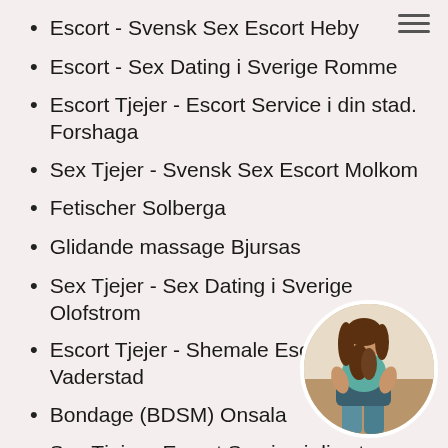Escort - Svensk Sex Escort Heby
Escort - Sex Dating i Sverige Romme
Escort Tjejer - Escort Service i din stad. Forshaga
Sex Tjejer - Svensk Sex Escort Molkom
Fetischer Solberga
Glidande massage Bjursas
Sex Tjejer - Sex Dating i Sverige Olofstrom
Escort Tjejer - Shemale Escort i din stad. Vaderstad
Bondage (BDSM) Onsala
Sex Tjejer - Escort Service i din sta…
Rimjob Karesuando
Sex Tjejer - Escort Service i din sta…
Kyss Rimbo
[Figure (photo): Circular avatar photo of a woman in a teal top and denim shorts, viewed from behind, positioned in the bottom-right corner]